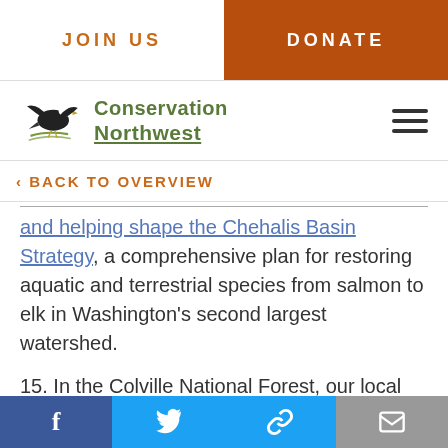JOIN US | DONATE
[Figure (logo): Conservation Northwest logo with eagle and swoosh graphic]
‹ BACK TO OVERVIEW
and helping shape the Chehalis Basin Strategy, a comprehensive plan for restoring aquatic and terrestrial species from salmon to elk in Washington's second largest watershed.
15. In the Colville National Forest, our local staff continue to work as part of the Northeast Washington Forestry Coalition
Facebook | Twitter | Link | Email